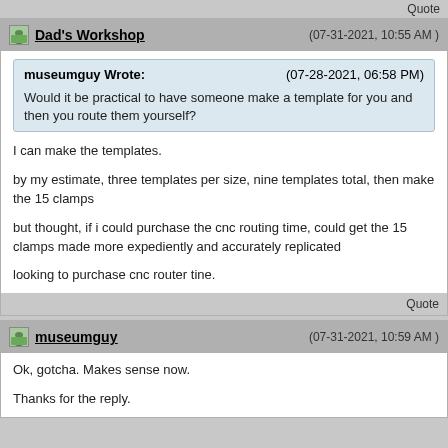Quote
Dad's Workshop  (07-31-2021, 10:55 AM )
museumguy Wrote:  (07-28-2021, 06:58 PM)
Would it be practical to have someone make a template for you and then you route them yourself?
I can make the templates.

by my estimate, three templates per size, nine templates total, then make the 15 clamps

but thought, if i could purchase the cnc routing time,  could get the 15 clamps made more expediently and accurately replicated

looking to purchase cnc router tine.
Quote
museumguy  (07-31-2021, 10:59 AM )
Ok, gotcha. Makes sense now.

Thanks for the reply.